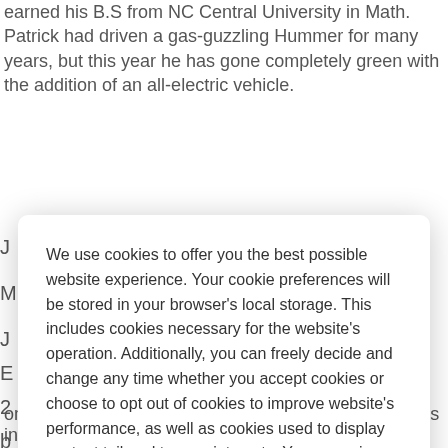earned his B.S from NC Central University in Math. Patrick had driven a gas-guzzling Hummer for many years, but this year he has gone completely green with the addition of an all-electric vehicle.
We use cookies to offer you the best possible website experience. Your cookie preferences will be stored in your browser's local storage. This includes cookies necessary for the website's operation. Additionally, you can freely decide and change any time whether you accept cookies or choose to opt out of cookies to improve website's performance, as well as cookies used to display content tailored to your interests. Your experience of the site and the services we are able to offer may be impacted if you do not accept all cookies.
Modify Cookie Preferences
Accept All Cookies
on software to accelerate development for researchers in